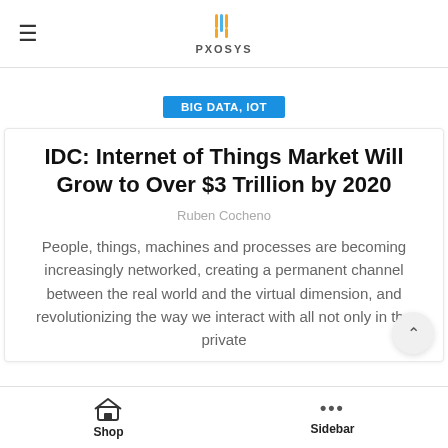PXOSYS
BIG DATA, IOT
IDC: Internet of Things Market Will Grow to Over $3 Trillion by 2020
Ruben Cocheno
People, things, machines and processes are becoming increasingly networked, creating a permanent channel between the real world and the virtual dimension, and revolutionizing the way we interact with all not only in the private
Shop  Sidebar